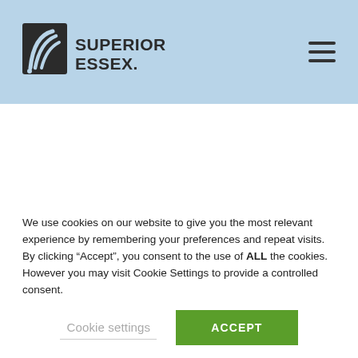[Figure (logo): Superior Essex logo — stylized signal wave icon next to bold text reading SUPERIOR ESSEX]
Marathon LAN CAT
We use cookies on our website to give you the most relevant experience by remembering your preferences and repeat visits. By clicking “Accept”, you consent to the use of ALL the cookies. However you may visit Cookie Settings to provide a controlled consent.
Cookie settings  ACCEPT